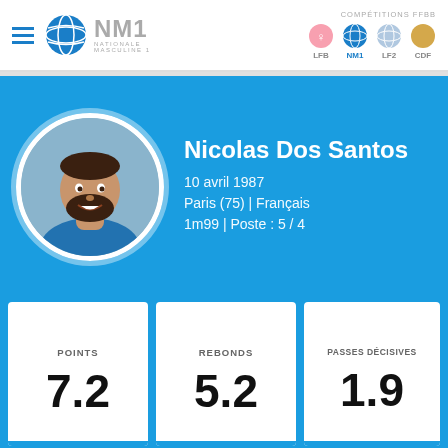NM1 NATIONALE MASCULINE 1 | COMPÉTITIONS FFBB | LFB | NM1 | LF2 | CDF
Nicolas Dos Santos
10 avril 1987
Paris (75) | Français
1m99 | Poste : 5 / 4
POINTS
7.2
REBONDS
5.2
PASSES DÉCISIVES
1.9